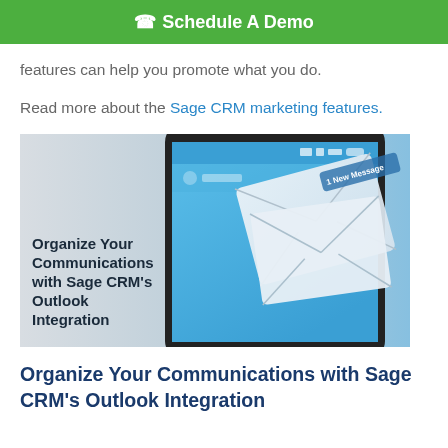Schedule A Demo
features can help you promote what you do.
Read more about the Sage CRM marketing features.
[Figure (photo): A tablet/phone showing a messaging app with envelope icons and text 'Organize Your Communications with Sage CRM's Outlook Integration']
Organize Your Communications with Sage CRM's Outlook Integration